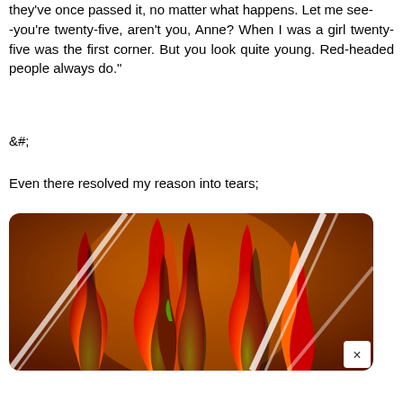they've once passed it, no matter what happens. Let me see--you're twenty-five, aren't you, Anne? When I was a girl twenty-five was the first corner. But you look quite young. Red-headed people always do."
&#;
Even there resolved my reason into tears;
[Figure (illustration): A colorful digital illustration of stylized flame shapes in red, orange, yellow, and black on a warm brown/orange background, with white curved lines cutting through the composition. A white close button (×) appears in the bottom-right corner.]